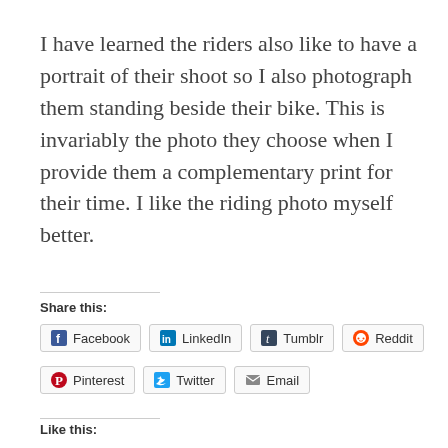I have learned the riders also like to have a portrait of their shoot so I also photograph them standing beside their bike. This is invariably the photo they choose when I provide them a complementary print for their time. I like the riding photo myself better.
Share this:
Facebook  LinkedIn  Tumblr  Reddit  Pinterest  Twitter  Email
Like this:
Like
Be the first to like this.